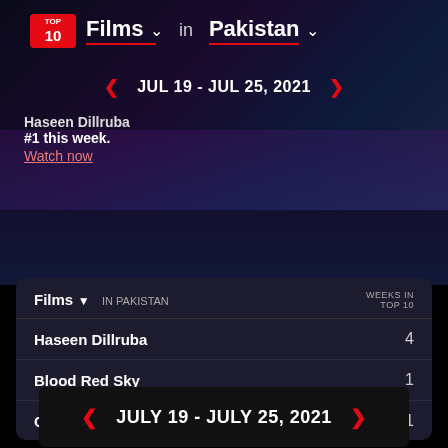TOP 10 Films in Pakistan
JUL 19 - JUL 25, 2021
Haseen Dillruba #1 this week. Watch now
JULY 19 - JULY 25, 2021
| Films IN PAKISTAN | WEEKS IN TOP 10 |
| --- | --- |
| Haseen Dillruba | 4 |
| Blood Red Sky | 1 |
| Chernobyl 1986 | 1 |
| Trollhunters: Rise of the Titans | 1 |
| Major Grom: Plague Doctor | 3 |